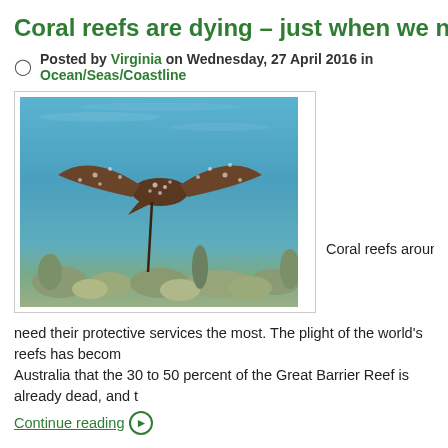Coral reefs are dying – just when we need the
Posted by Virginia on Wednesday, 27 April 2016 in Ocean/Seas/Coastline
[Figure (photo): Underwater photo of a spotted eagle ray swimming above a coral reef in clear blue water]
Coral reefs around the
need their protective services the most. The plight of the world's reefs has becom... Australia that the 30 to 50 percent of the Great Barrier Reef is already dead, and t...
Continue reading
Tagged in: Coral Reefs • Global Coral Reef Monitoring Network • great b... • protect the Great Barrier Reef • US Environmental Protection Agency • wo...